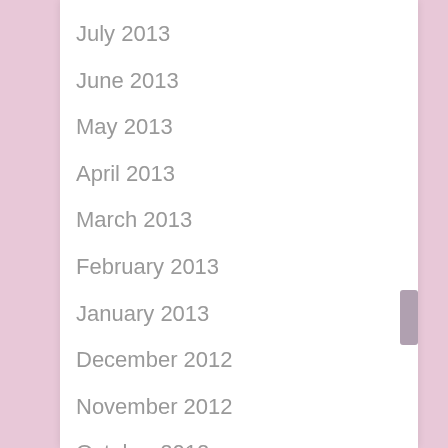July 2013
June 2013
May 2013
April 2013
March 2013
February 2013
January 2013
December 2012
November 2012
October 2012
September 2012